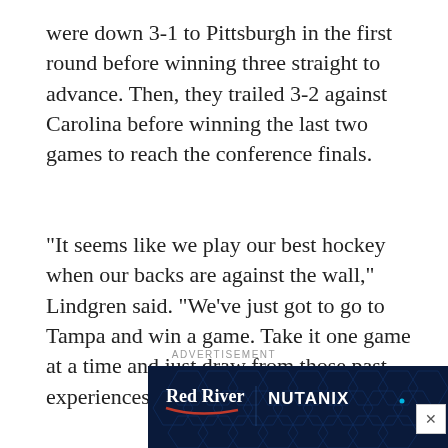were down 3-1 to Pittsburgh in the first round before winning three straight to advance. Then, they trailed 3-2 against Carolina before winning the last two games to reach the conference finals.
“It seems like we play our best hockey when our backs are against the wall,” Lindgren said. “We’ve just got to go to Tampa and win a game. Take it one game at a time and just draw from those past experiences and go play our best hockey.”
ADVERTISEMENT
[Figure (photo): Advertisement banner for Red River and Nutanix featuring dark blue hexagonal pattern background with logos]